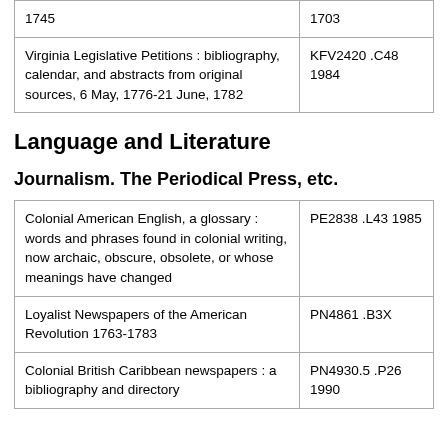| Title | Call Number |
| --- | --- |
| 1745 | 1703 |
| Virginia Legislative Petitions : bibliography, calendar, and abstracts from original sources, 6 May, 1776-21 June, 1782 | KFV2420 .C48 1984 |
Language and Literature
Journalism. The Periodical Press, etc.
| Title | Call Number |
| --- | --- |
| Colonial American English, a glossary : words and phrases found in colonial writing, now archaic, obscure, obsolete, or whose meanings have changed | PE2838 .L43 1985 |
| Loyalist Newspapers of the American Revolution 1763-1783 | PN4861 .B3X |
| Colonial British Caribbean newspapers : a bibliography and directory | PN4930.5 .P26 1990 |